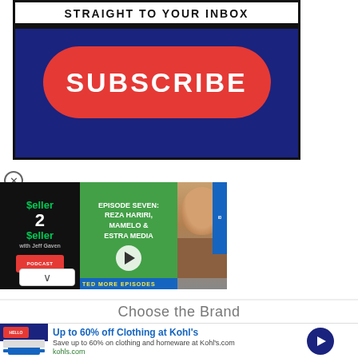[Figure (screenshot): Subscribe banner with dark blue background and red subscribe button. Top white bar reads 'STRAIGHT TO YOUR INBOX' in bold black uppercase letters. Below is a large red rounded-rectangle button with white bold text 'SUBSCRIBE'.]
[Figure (screenshot): Video widget for 'Seller 2 Seller with Jeff Gaven' podcast. Episode Seven featuring Reza Hariri, Mamelo & Estra Media. Shows play button and photo of a man smiling.]
Choose the Brand
[Figure (screenshot): Advertisement banner: 'Up to 60% off Clothing at Kohl's'. Save up to 60% on clothing and homeware at Kohl's.com. kohls.com]